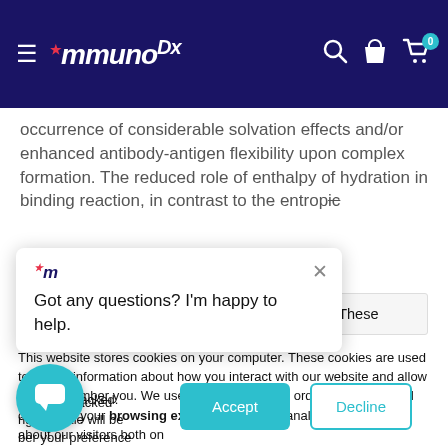ImmunoDx navigation bar with logo, search, account, and cart icons
occurrence of considerable solvation effects and/or enhanced antibody-antigen flexibility upon complex formation. The reduced role of enthalpy of hydration in binding reaction, in contrast to the entropic
This website stores cookies on your computer. These
This website stores cookies on your computer. These cookies are used to collect information about how you interact with our website and allow us to remember you. We use this information in order to improve and customize your browsing experience and for analytics and metrics about our visitors both on this website and other media. To find out more about the cookies we use, see our Cookie Policy. If you decline, your information won't be tracked when you visit this website. A single cookie will be used in your browser to remember your preference not to be tracked.
Got any questions? I'm happy to help.